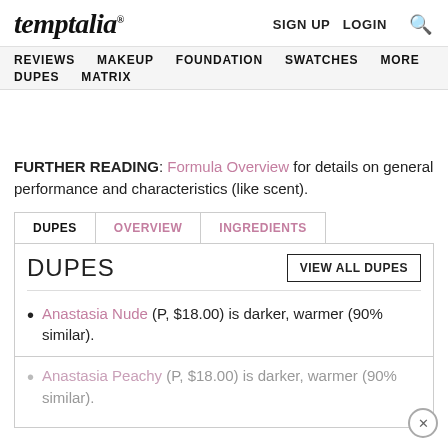temptalia® — SIGN UP  LOGIN  🔍
REVIEWS  MAKEUP  FOUNDATION  SWATCHES  MORE  DUPES  MATRIX
FURTHER READING: Formula Overview for details on general performance and characteristics (like scent).
| DUPES | OVERVIEW | INGREDIENTS |
| --- | --- | --- |
DUPES
Anastasia Nude (P, $18.00) is darker, warmer (90% similar).
Anastasia Peachy (P, $18.00) is darker, warmer (90% similar).